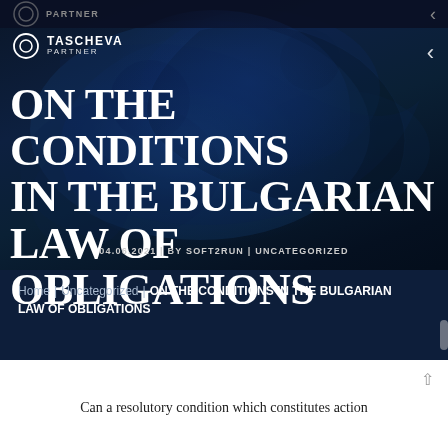[Figure (screenshot): Dark blue hero banner with abstract blue fluid/marble texture background]
TASCHEVA PARTNER
ON THE CONDITIONS IN THE BULGARIAN LAW OF OBLIGATIONS
04.06.2021 | BY SOFT2RUN | UNCATEGORIZED
Home | Uncategorized | ON THE CONDITIONS IN THE BULGARIAN LAW OF OBLIGATIONS
Can a resolutory condition which constitutes action